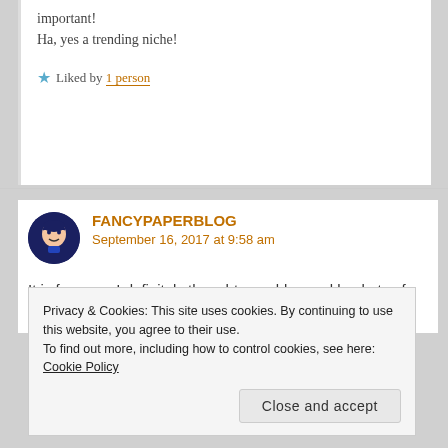important!
Ha, yes a trending niche!
Liked by 1 person
FANCYPAPERBLOG
September 16, 2017 at 9:58 am
It is funny as I definitely thought your blog and buckets of Tea should be friends. I love reading
Privacy & Cookies: This site uses cookies. By continuing to use this website, you agree to their use.
To find out more, including how to control cookies, see here: Cookie Policy
Close and accept